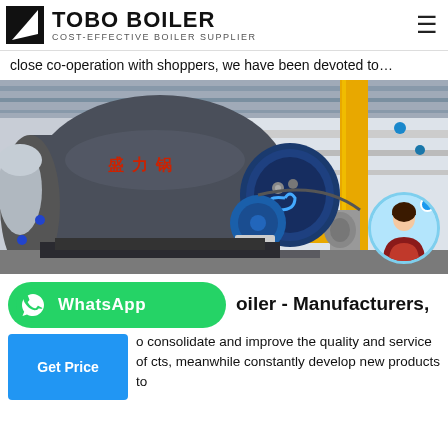TOBO BOILER — COST-EFFECTIVE BOILER SUPPLIER
close co-operation with shoppers, we have been devoted to…
[Figure (photo): Industrial boiler facility showing a large dark cylindrical boiler with blue burner front panel and yellow gas supply pipes running along the wall in an industrial building]
oiler - Manufacturers,
to consolidate and improve the quality and service of cts, meanwhile constantly develop new products to